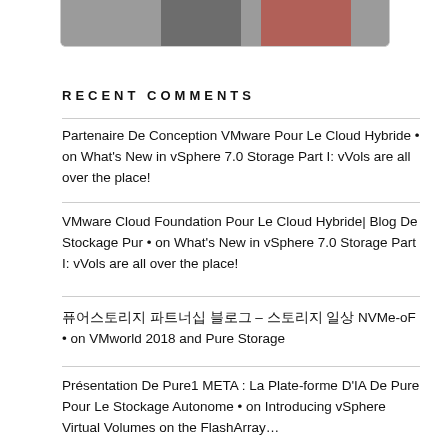[Figure (photo): Partial view of two people, one in dark shirt and one in red/orange, cropped at bottom of image area]
RECENT COMMENTS
Partenaire De Conception VMware Pour Le Cloud Hybride • on What's New in vSphere 7.0 Storage Part I: vVols are all over the place!
VMware Cloud Foundation Pour Le Cloud Hybride| Blog De Stockage Pur • on What's New in vSphere 7.0 Storage Part I: vVols are all over the place!
퓨어스토리지 파트너십 블로그 – 스토리지 일상 NVMe-oF • on VMworld 2018 and Pure Storage
Présentation De Pure1 META : La Plate-forme D'IA De Pure Pour Le Stockage Autonome • on Introducing vSphere Virtual Volumes on the FlashArray…